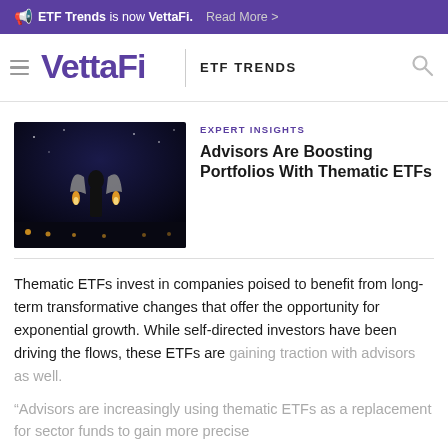ETF Trends is now VettaFi. Read More >
[Figure (logo): VettaFi logo and ETF Trends navigation bar with hamburger menu and search icon]
[Figure (photo): Person in business suit with jetpack standing on a runway at night with lights in background]
EXPERT INSIGHTS
Advisors Are Boosting Portfolios With Thematic ETFs
Thematic ETFs invest in companies poised to benefit from long-term transformative changes that offer the opportunity for exponential growth. While self-directed investors have been driving the flows, these ETFs are gaining traction with advisors as well.
“Advisors are increasingly using thematic ETFs as a replacement for sector funds to gain more precise